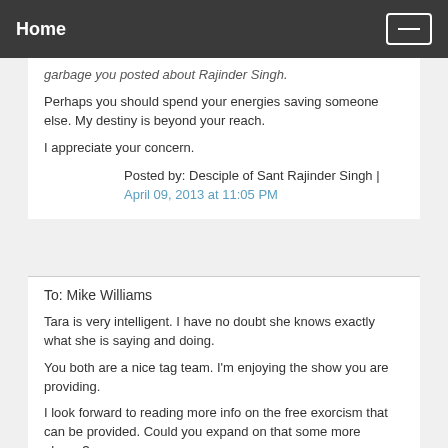Home
garbage you posted about Rajinder Singh.
Perhaps you should spend your energies saving someone else. My destiny is beyond your reach.
I appreciate your concern.
Posted by: Desciple of Sant Rajinder Singh |
April 09, 2013 at 11:05 PM
To: Mike Williams
Tara is very intelligent. I have no doubt she knows exactly what she is saying and doing.
You both are a nice tag team. I'm enjoying the show you are providing.
I look forward to reading more info on the free exorcism that can be provided. Could you expand on that some more please?
Posted by: Desciple of Sant Rajinder Singh |